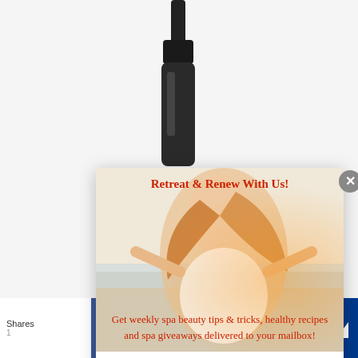[Figure (screenshot): Website popup overlay for spa/beauty newsletter signup. Shows a woman with arms outstretched on a beach background. Title reads 'Retreat & Renew With Us!' with body text about weekly spa tips and recipes. Contains two input fields for First Name and Email Address. A close button (X) appears in top right corner of popup. Below is a social share bar with Facebook, Twitter, Pinterest, Google+, LinkedIn, and crown/bookmark icons. A spray bottle product is partially visible at top of page.]
Retreat & Renew With Us!
Get weekly spa beauty tips & tricks, healthy recipes and spa giveaways delivered to your mailbox!
Shares